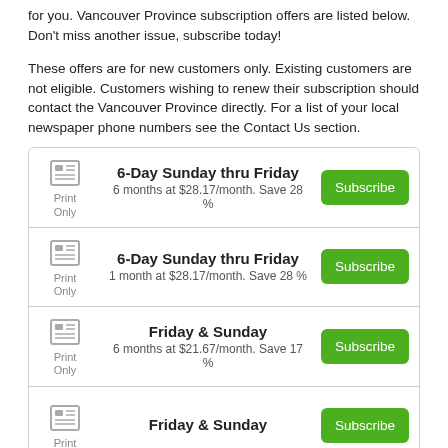for you. Vancouver Province subscription offers are listed below. Don't miss another issue, subscribe today!
These offers are for new customers only. Existing customers are not eligible. Customers wishing to renew their subscription should contact the Vancouver Province directly. For a list of your local newspaper phone numbers see the Contact Us section.
6-Day Sunday thru Friday — Print Only. 6 months at $28.17/month. Save 28 %
6-Day Sunday thru Friday — Print Only. 1 month at $28.17/month. Save 28 %
Friday & Sunday — Print Only. 6 months at $21.67/month. Save 17 %
Friday & Sunday — Print Only.